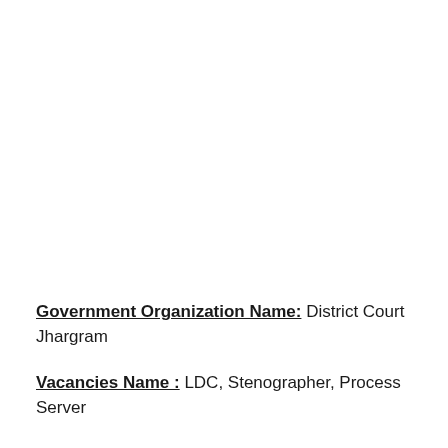Government Organization Name: District Court Jhargram
Vacancies Name : LDC, Stenographer, Process Server
Total Posts: 55
Vacancy Details: